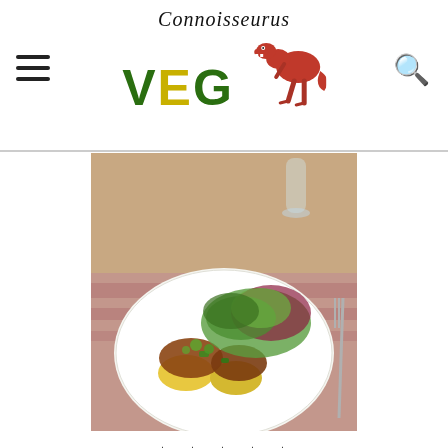Connoisseurus VEG
[Figure (photo): A plate of Ethiopian Berbere dish with lentils on yellow polenta rounds, garnished with fresh salad greens, served on a white plate with a patterned cloth underneath.]
★★★★★
5 from 2 votes
🖨 Print
Ethiopian Berbere